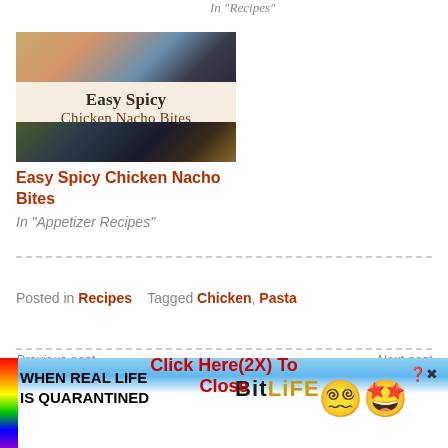In "Recipes"
[Figure (photo): Food blog card image for Easy Spicy Chicken Nacho Bites with berries and food items visible, text overlay showing recipe title]
Easy Spicy Chicken Nacho Bites
In "Appetizer Recipes"
Posted in Recipes   Tagged Chicken, Pasta
Previous post
Chicken Tortilla Stack R
Click Here(2X) To Close
Next post
Velvet Crinkle Cookies
[Figure (screenshot): BitLife advertisement banner: When Real Life Is Quarantined - BitLife app ad with rainbow stripe, emoji character with stars for eyes]